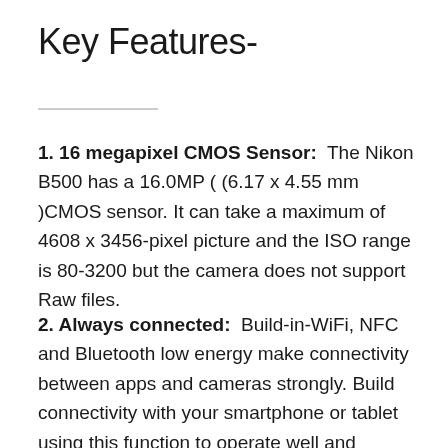Key Features-
1. 16 megapixel CMOS Sensor: The Nikon B500 has a 16.0MP ( (6.17 x 4.55 mm )CMOS sensor. It can take a maximum of 4608 x 3456-pixel picture and the ISO range is 80-3200 but the camera does not support Raw files.
2. Always connected: Build-in-WiFi, NFC and Bluetooth low energy make connectivity between apps and cameras strongly. Build connectivity with your smartphone or tablet using this function to operate well and